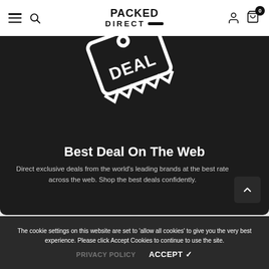[Figure (screenshot): Packed Direct website header with hamburger menu, search icon, Packed Direct logo, user icon, and cart icon with badge showing 0]
[Figure (infographic): Dark promotional banner with deal tag graphic showing 'DEAL' text]
Best Deal On The Web
Direct exclusive deals from the world's leading brands at the best rate across the web. Shop the best deals confidently.
The cookie settings on this website are set to 'allow all cookies' to give you the very best experience. Please click Accept Cookies to continue to use the site.
PRIVACY POLICY   ACCEPT ✓
Cream / 21" Cabin - £72.99   ADD TO CART